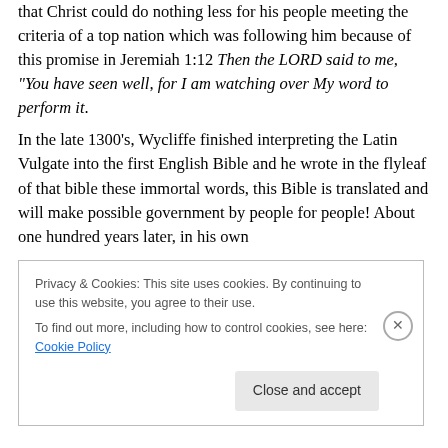that Christ could do nothing less for his people meeting the criteria of a top nation which was following him because of this promise in Jeremiah 1:12 Then the LORD said to me, “You have seen well, for I am watching over My word to perform it.
In the late 1300’s, Wycliffe finished interpreting the Latin Vulgate into the first English Bible and he wrote in the flyleaf of that bible these immortal words, this Bible is translated and will make possible government by people for people! About one hundred years later, in his own
Privacy & Cookies: This site uses cookies. By continuing to use this website, you agree to their use.
To find out more, including how to control cookies, see here: Cookie Policy